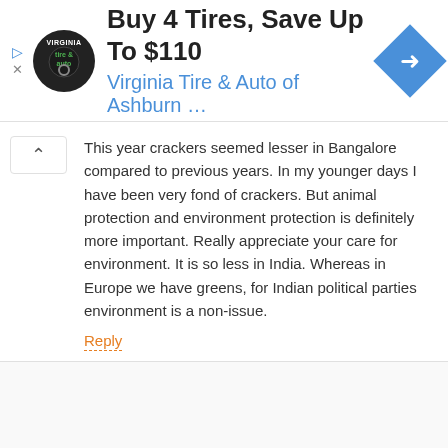[Figure (screenshot): Advertisement banner for Virginia Tire & Auto of Ashburn with logo, text 'Buy 4 Tires, Save Up To $110', blue subtitle, and blue diamond navigation arrow]
This year crackers seemed lesser in Bangalore compared to previous years. In my younger days I have been very fond of crackers. But animal protection and environment protection is definitely more important. Really appreciate your care for environment. It is so less in India. Whereas in Europe we have greens, for Indian political parties environment is a non-issue.
Reply
Sabyasachi Patra
15 November,2012
I fully agree that in India, there is very less emphasis on environment. People feel environment is not an issue that impacts common many. Unfortunately, millions of people in India will be devastated due to the impacts of climate change, some of which has already started showing up. I hope people in India become aware, so that environment gets into the